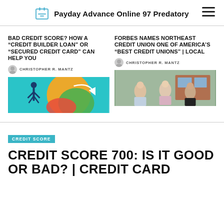Payday Advance Online 97 Predatory
BAD CREDIT SCORE? HOW A “CREDIT BUILDER LOAN” OR “SECURED CREDIT CARD” CAN HELP YOU
CHRISTOPHER R. MANTZ
[Figure (illustration): Colorful graphic showing a person pushing against a large colorful circle with an arrow, credit builder concept illustration]
FORBES NAMES NORTHEAST CREDIT UNION ONE OF AMERICA’S “BEST CREDIT UNIONS” | LOCAL
CHRISTOPHER R. MANTZ
[Figure (photo): Three women standing outside a building, credit union staff photo]
CREDIT SCORE
CREDIT SCORE 700: IS IT GOOD OR BAD? | CREDIT CARD